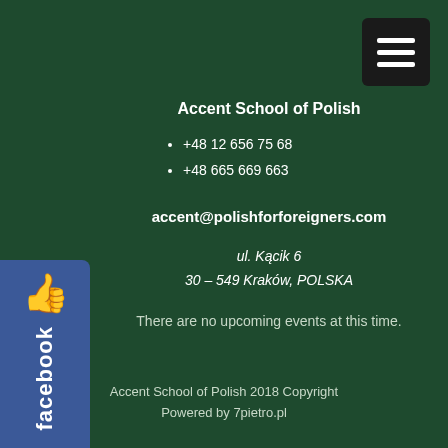[Figure (other): Hamburger menu button (dark square with three white lines) in top right corner]
[Figure (other): Facebook 'Like' badge on the left side — blue rectangle with thumbs-up icon and 'facebook' text rotated vertically]
Accent School of Polish
+48 12 656 75 68
+48 665 669 663
accent@polishforforeigners.com
ul. Kącik 6
30 – 549 Kraków, POLSKA
There are no upcoming events at this time.
Accent School of Polish 2018 Copyright
Powered by 7pietro.pl